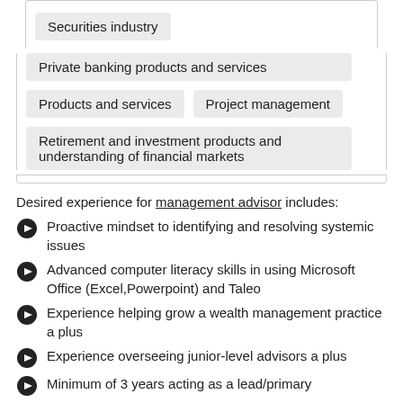Securities industry
Private banking products and services
Products and services
Project management
Retirement and investment products and understanding of financial markets
Desired experience for management advisor includes:
Proactive mindset to identifying and resolving systemic issues
Advanced computer literacy skills in using Microsoft Office (Excel,Powerpoint) and Taleo
Experience helping grow a wealth management practice a plus
Experience overseeing junior-level advisors a plus
Minimum of 3 years acting as a lead/primary